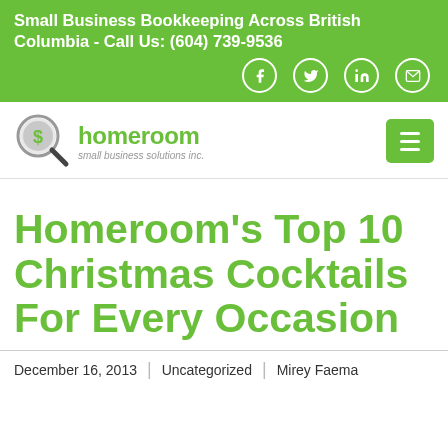Small Business Bookkeeping Across British Columbia - Call Us: (604) 739-9536
[Figure (logo): Homeroom Small Business Solutions Inc. logo with magnifying glass dollar sign icon]
Homeroom’s Top 10 Christmas Cocktails For Every Occasion
December 16, 2013 | Uncategorized | Mirey Faema